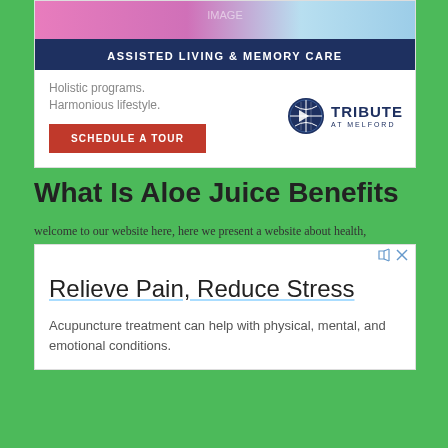[Figure (photo): Top portion of an advertisement showing a person in a pink shirt painting/drawing, with a blue banner below reading ASSISTED LIVING & MEMORY CARE]
[Figure (logo): Tribute at Melford logo with globe icon and text]
Holistic programs. Harmonious lifestyle.
SCHEDULE A TOUR
What Is Aloe Juice Benefits
welcome to our website here, here we present a website about health,
[Figure (screenshot): Advertisement banner showing 'Relieve Pain, Reduce Stress' headline with description 'Acupuncture treatment can help with physical, mental, and emotional conditions.']